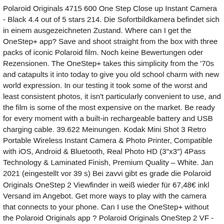Polaroid Originals 4715 600 One Step Close up Instant Camera - Black 4.4 out of 5 stars 214. Die Sofortbildkamera befindet sich in einem ausgezeichneten Zustand. Where can I get the OneStep+ app? Save and shoot straight from the box with three packs of iconic Polaroid film. Noch keine Bewertungen oder Rezensionen. The OneStep+ takes this simplicity from the '70s and catapults it into today to give you old school charm with new world expression. In our testing it took some of the worst and least consistent photos, it isn't particularly convenient to use, and the film is some of the most expensive on the market. Be ready for every moment with a built-in rechargeable battery and USB charging cable. 39.622 Meinungen. Kodak Mini Shot 3 Retro Portable Wireless Instant Camera & Photo Printer, Compatible with iOS, Android & Bluetooth, Real Photo HD (3"x3") 4Pass Technology & Laminated Finish, Premium Quality – White. Jan 2021 (eingestellt vor 39 s) Bei zavvi gibt es grade die Polaroid Originals OneStep 2 Viewfinder in weiß wieder für 67,48€ inkl Versand im Angebot. Get more ways to play with the camera that connects to your phone. Can I use the OneStep+ without the Polaroid Originals app ? Polaroid Originals OneStep 2 VF - Summer Blue (9016) 4.6 out of 5 stars 4,222. Polaroid originals onestep 2 - Unser Vergleichssieger . But it's not. A modern interpretation of the original